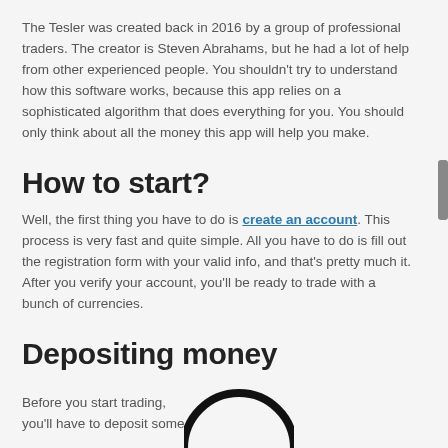The Tesler was created back in 2016 by a group of professional traders. The creator is Steven Abrahams, but he had a lot of help from other experienced people. You shouldn't try to understand how this software works, because this app relies on a sophisticated algorithm that does everything for you. You should only think about all the money this app will help you make.
How to start?
Well, the first thing you have to do is create an account. This process is very fast and quite simple. All you have to do is fill out the registration form with your valid info, and that's pretty much it. After you verify your account, you'll be ready to trade with a bunch of currencies.
Depositing money
Before you start trading, you'll have to deposit some
[Figure (illustration): Partial circle/arc shape visible at bottom right of the page]